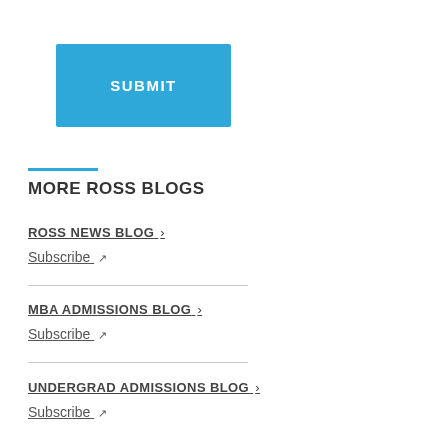[Figure (other): Blue SUBMIT button]
MORE ROSS BLOGS
ROSS NEWS BLOG >
Subscribe ↗
MBA ADMISSIONS BLOG >
Subscribe ↗
UNDERGRAD ADMISSIONS BLOG >
Subscribe ↗